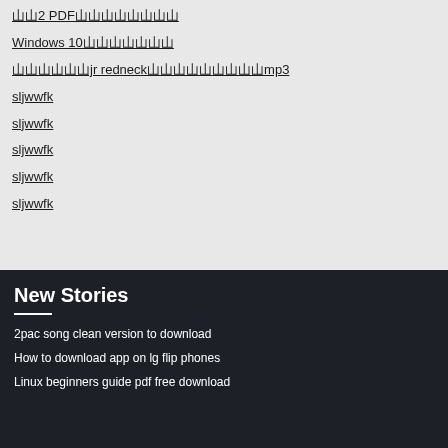䶔䶔2 PDF䶔䶔䶔䶔䶔䶔䶔䶔
Windows 10䶔䶔䶔䶔䶔䶔䶔
䶔䶔䶔䶔䶔䶔jr redneck䶔䶔䶔䶔䶔䶔䶔䶔䶔mp3
sljwwfk
sljwwfk
sljwwfk
sljwwfk
sljwwfk
New Stories
2pac song clean version to download
How to download app on lg flip phones
Linux beginners guide pdf free download